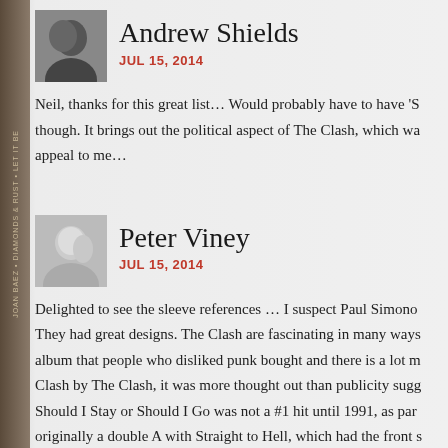[Figure (photo): Avatar photo of Andrew Shields - black and white photo of a person]
Andrew Shields
JUL 15, 2014
Neil, thanks for this great list… Would probably have to have 'S though. It brings out the political aspect of The Clash, which wa appeal to me…
[Figure (photo): Avatar photo of Peter Viney - photo of an older man]
Peter Viney
JUL 15, 2014
Delighted to see the sleeve references … I suspect Paul Simono They had great designs. The Clash are fascinating in many ways album that people who disliked punk bought and there is a lot m Clash by The Clash, it was more thought out than publicity sugg Should I Stay or Should I Go was not a #1 hit until 1991, as part originally a double A with Straight to Hell, which had the front s choose Should I Stay or Should I Go is that it sits in the Levi ca Everybody, I Heard It Through The Grapevine, Mannish Boy, P and you can't see any joins. It's just pure classic rock and it was